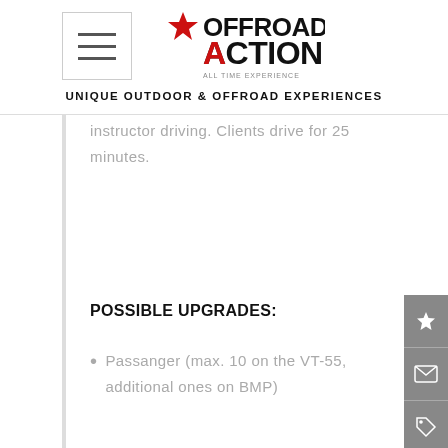UNIQUE OUTDOOR & OFFROAD EXPERIENCES
instructor driving. Clients drive for 25 minutes.
POSSIBLE UPGRADES:
Passanger (max. 10 on the VT-55, additional ones on BMP)
Exclusivity - only you and your
We use cookies
We use cookies and other tracking technologies to improve your browsing experience on our website, to show you personalized content and targeted ads, to